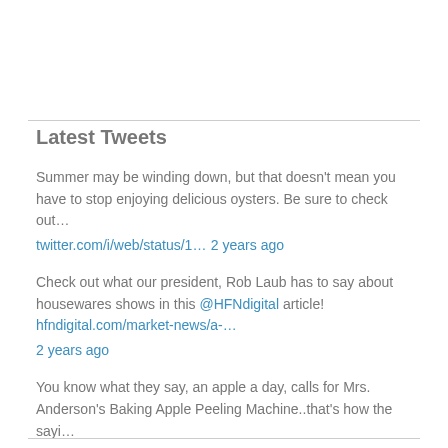Latest Tweets
Summer may be winding down, but that doesn't mean you have to stop enjoying delicious oysters. Be sure to check out… twitter.com/i/web/status/1… 2 years ago
Check out what our president, Rob Laub has to say about housewares shows in this @HFNdigital article! hfndigital.com/market-news/a-… 2 years ago
You know what they say, an apple a day, calls for Mrs. Anderson's Baking Apple Peeling Machine..that's how the sayi… twitter.com/i/web/status/1… 2 years ago